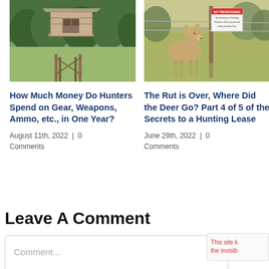[Figure (photo): Wooden hunting blind/deer stand in a green field with trees in background]
[Figure (photo): Deer standing near a 'No Trespassing / No Hunting or Fishing' sign in tall grass]
How Much Money Do Hunters Spend on Gear, Weapons, Ammo, etc., in One Year?
August 11th, 2022  |  0 Comments
The Rut is Over, Where Did the Deer Go? Part 4 of 5 of the Secrets to a Hunting Lease
June 29th, 2022  |  0 Comments
Leave A Comment
Comment...
This site k the invisib